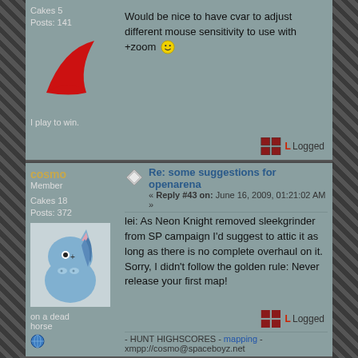Cakes 5
Posts: 141
Would be nice to have cvar to adjust different mouse sensitivity to use with +zoom :)
[Figure (illustration): Red swoosh/checkmark logo graphic]
I play to win.
Logged
cosmo
Member
Cakes 18
Posts: 372
Re: some suggestions for openarena
« Reply #43 on: June 16, 2009, 01:21:02 AM »
[Figure (illustration): Blue cartoon horse/unicorn avatar]
on a dead horse
lei: As Neon Knight removed sleekgrinder from SP campaign I'd suggest to attic it as long as there is no complete overhaul on it. Sorry, I didn't follow the golden rule: Never release your first map!
Logged
- HUNT HIGHSCORES - mapping - xmpp://cosmo@spaceboyz.net